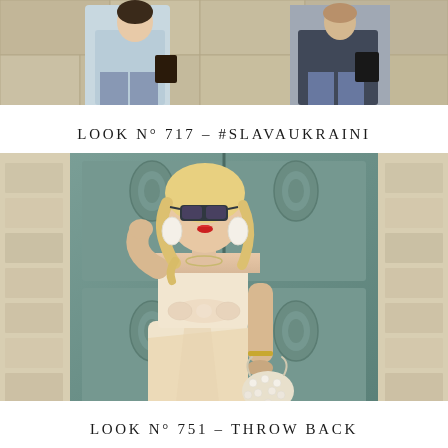[Figure (photo): Top photo strip showing two people outdoors near a stone wall, one in a light blue jacket and jeans, another in a dark outfit]
LOOK N° 717 – #SLAVAUKRAINI
[Figure (photo): Fashion photo of a blonde woman wearing sunglasses, a cream strapless bow-tie top and wrap skirt, holding a pearl bag, standing in front of large green ornate wooden doors]
LOOK N° 751 – THROW BACK